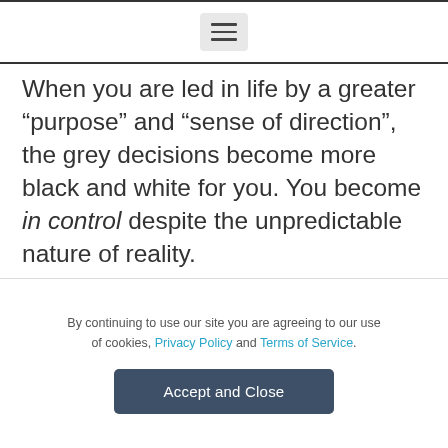[hamburger menu icon]
When you are led in life by a greater “purpose” and “sense of direction”, the grey decisions become more black and white for you. You become in control despite the unpredictable nature of reality.
Ask yourself, what would a healthy
By continuing to use our site you are agreeing to our use of cookies, Privacy Policy and Terms of Service.
Accept and Close